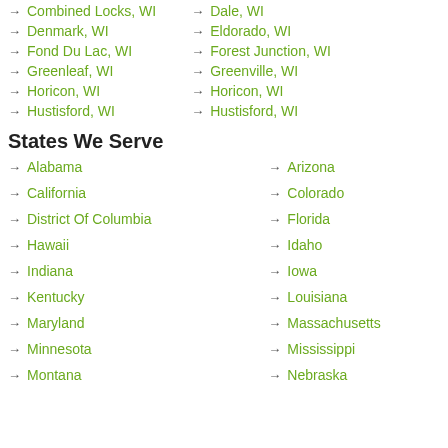Combined Locks, WI
Dale, WI
Denmark, WI
Eldorado, WI
Fond Du Lac, WI
Forest Junction, WI
Greenleaf, WI
Greenville, WI
Horicon, WI
Horicon, WI
Hustisford, WI
Hustisford, WI
States We Serve
Alabama
Arizona
California
Colorado
District Of Columbia
Florida
Hawaii
Idaho
Indiana
Iowa
Kentucky
Louisiana
Maryland
Massachusetts
Minnesota
Mississippi
Montana
Nebraska